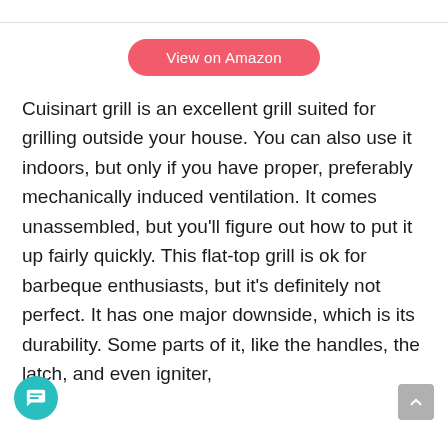[Figure (other): Top partial screenshot showing a product image area cropped at the top with a white background and a thin bottom border]
View on Amazon
Cuisinart grill is an excellent grill suited for grilling outside your house. You can also use it indoors, but only if you have proper, preferably mechanically induced ventilation. It comes unassembled, but you'll figure out how to put it up fairly quickly. This flat-top grill is ok for barbeque enthusiasts, but it's definitely not perfect. It has one major downside, which is its durability. Some parts of it, like the handles, the latch, and even igniter,